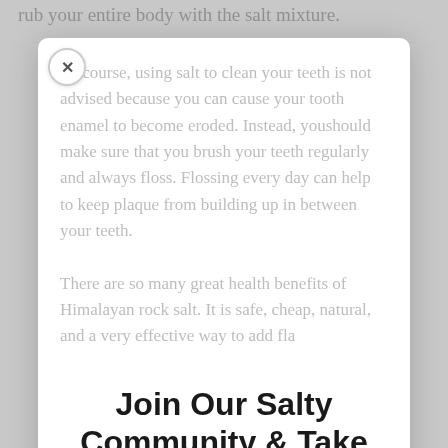rub your entire body with the salt mixture.
Of course, using salt to clean your teeth is not advised because you can cause your tooth enamel to become eroded. Instead, youshould make sure that you brush your teeth regularly and always floss. Flossing every day can help to keep plaque from building up in between your teeth.
There are so many great health benefits of Himalayan rock salt. It is safe, cheap, natural, and a very effective way to add flay of your diet.
Join Our Salty Community & Take 10% Off!
Hurry the sale ends soon!
(This offer will only appear once).
[Figure (other): Four product thumbnail images in a row: pink salt, black salt, grey salt, and salt. Labels partially visible.]